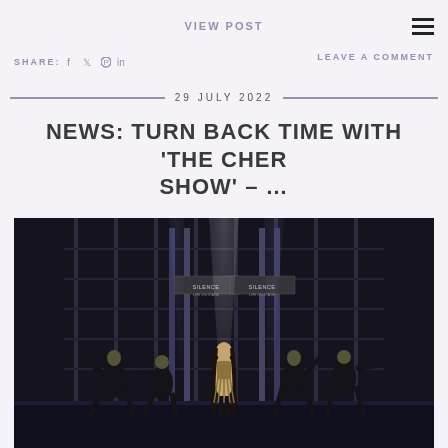VIEW POST
SHARE:
LEAVE A COMMENT
29 JULY 2022
NEWS: TURN BACK TIME WITH 'THE CHER SHOW' – …
[Figure (photo): Stage performance photo showing performers in black costumes on a dramatic stage set with tall shelving/panel structures in the background, with 'SILENCE LIVE ON STAGE' signs, and a central performer in a sparkly costume under spotlight beams.]